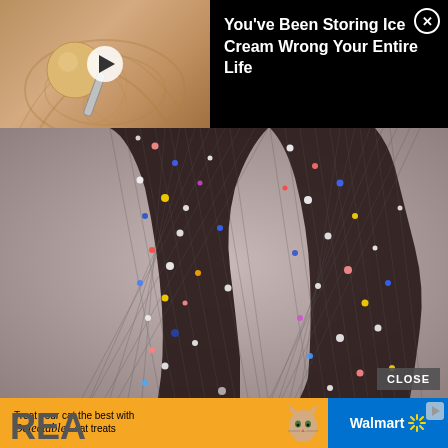[Figure (screenshot): Video thumbnail of ice cream scoop being scooped from a decorative background, with a white play button overlay]
You've Been Storing Ice Cream Wrong Your Entire Life
[Figure (photo): Close-up photo of two legs wearing black fishnet tights decorated with multicolored rhinestones/glitter gems on a gray background]
[Figure (screenshot): Walmart advertisement banner: 'Treat your cat the best with Delectables cat treats' with cat photo and Walmart logo]
REA